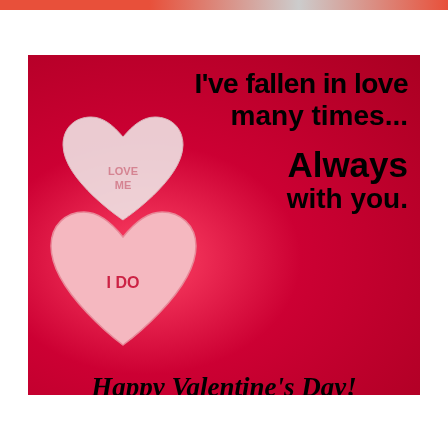[Figure (photo): Valentine's Day greeting card image with a red background and two candy hearts (one white heart-shaped candy partially visible in back, one pink heart-shaped candy in front with 'I DO' text). Overlaid black bold text reads: "I've fallen in love many times... Always with you. Happy Valentine's Day!"]